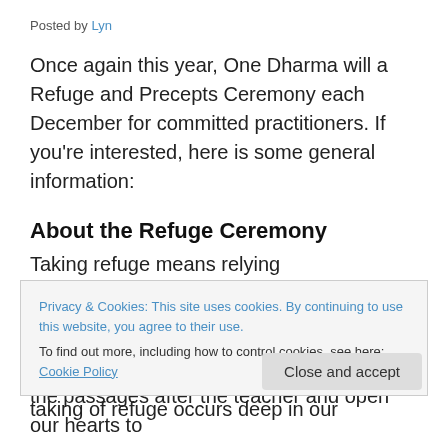Posted by Lyn
Once again this year, One Dharma will a Refuge and Precepts Ceremony each December for committed practitioners. If you're interested, here is some general information:
About the Refuge Ceremony
Taking refuge means relying wholeheartedly on the Three Jewels of the Buddha, Dharma and Sangha to inspire and guide us toward a constructive and beneficial direction in our lives. The real taking of refuge occurs deep in our
Privacy & Cookies: This site uses cookies. By continuing to use this website, you agree to their use.
To find out more, including how to control cookies, see here: Cookie Policy
the passages after the teacher and open our hearts to